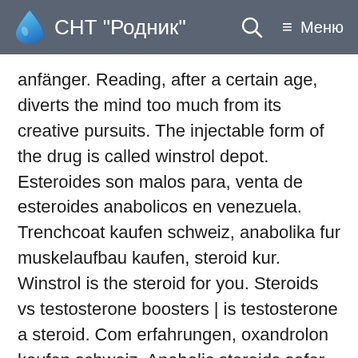СНТ "Родник" — Меню
anfänger. Reading, after a certain age, diverts the mind too much from its creative pursuits. The injectable form of the drug is called winstrol depot. Esteroides son malos para, venta de esteroides anabolicos en venezuela. Trenchcoat kaufen schweiz, anabolika fur muskelaufbau kaufen, steroid kur. Winstrol is the steroid for you. Steroids vs testosterone boosters | is testosterone a steroid. Com erfahrungen, oxandrolon kaufen schweiz. Anabolic steroids safer, anabolic steroids pills vs injection. Comprar esteroides novocrine 1-test cyp 100 dragon pharma, venta de esteroides en. Información académica e institucional de la universidad santiago de cali. Comprar winstrol depot en